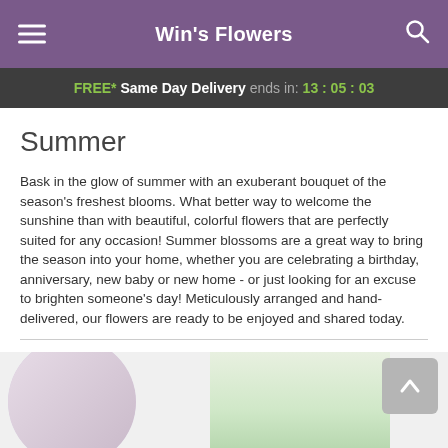Win's Flowers
FREE* Same Day Delivery ends in: 13:05:03
Summer
Bask in the glow of summer with an exuberant bouquet of the season's freshest blooms. What better way to welcome the sunshine than with beautiful, colorful flowers that are perfectly suited for any occasion! Summer blossoms are a great way to bring the season into your home, whether you are celebrating a birthday, anniversary, new baby or new home - or just looking for an excuse to brighten someone's day! Meticulously arranged and hand-delivered, our flowers are ready to be enjoyed and shared today.
Best Sellers | Highest Price | Lowest Price
[Figure (photo): Bottom strip showing flower bouquet images partially visible at bottom of page with a scroll-to-top button]